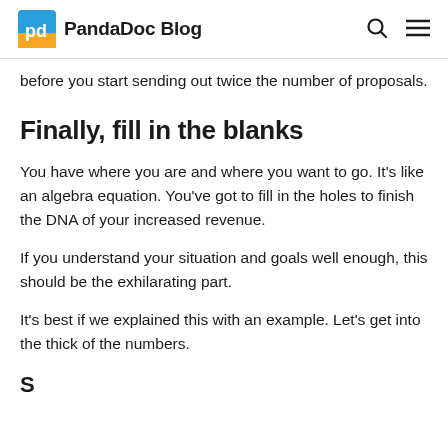PandaDoc Blog
before you start sending out twice the number of proposals.
Finally, fill in the blanks
You have where you are and where you want to go. It's like an algebra equation. You've got to fill in the holes to finish the DNA of your increased revenue.
If you understand your situation and goals well enough, this should be the exhilarating part.
It's best if we explained this with an example. Let's get into the thick of the numbers.
S... A small digit baseline...